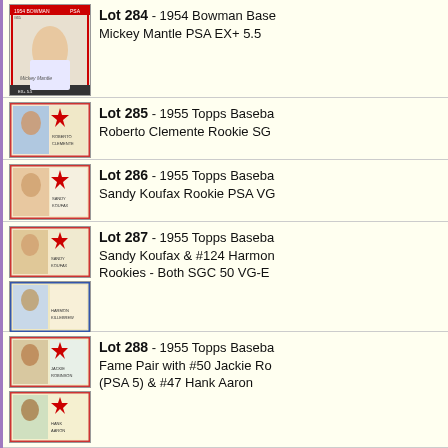Lot 284 - 1954 Bowman Baseball #65 Mickey Mantle PSA EX+ 5.5
Lot 285 - 1955 Topps Baseball Roberto Clemente Rookie SGC
Lot 286 - 1955 Topps Baseball Sandy Koufax Rookie PSA VG
Lot 287 - 1955 Topps Baseball Sandy Koufax & #124 Harmon Rookies - Both SGC 50 VG-E
Lot 288 - 1955 Topps Baseball Hall of Fame Pair with #50 Jackie Robinson (PSA 5) & #47 Hank Aaron
Lot 289 - 1955 Armour Coins Haddix Gold Narrow Gap Vari